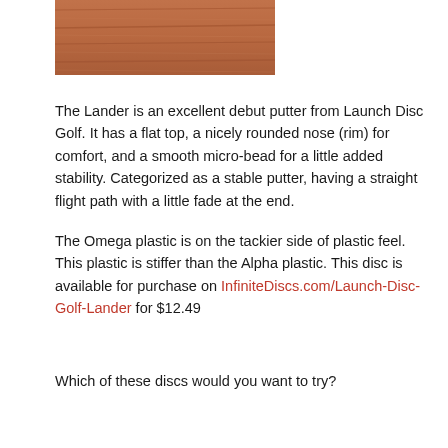[Figure (photo): Wood grain texture image, partial view at top of page]
The Lander is an excellent debut putter from Launch Disc Golf. It has a flat top, a nicely rounded nose (rim) for comfort, and a smooth micro-bead for a little added stability. Categorized as a stable putter, having a straight flight path with a little fade at the end.
The Omega plastic is on the tackier side of plastic feel. This plastic is stiffer than the Alpha plastic. This disc is available for purchase on InfiniteDiscs.com/Launch-Disc-Golf-Lander for $12.49
Which of these discs would you want to try?